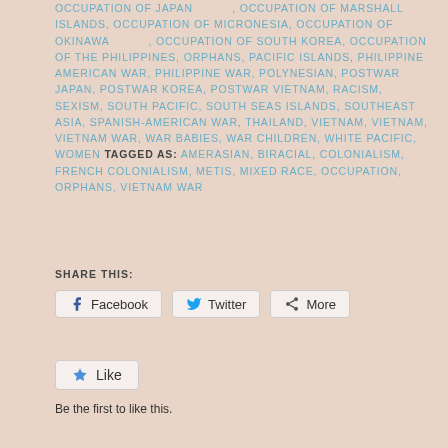OCCUPATION OF JAPAN 〔□□□〕, OCCUPATION OF MARSHALL ISLANDS, OCCUPATION OF MICRONESIA, OCCUPATION OF OKINAWA 〔□□□〕, OCCUPATION OF SOUTH KOREA, OCCUPATION OF THE PHILIPPINES, ORPHANS, PACIFIC ISLANDS, PHILIPPINE AMERICAN WAR, PHILIPPINE WAR, POLYNESIAN, POSTWAR JAPAN, POSTWAR KOREA, POSTWAR VIETNAM, RACISM, SEXISM, SOUTH PACIFIC, SOUTH SEAS ISLANDS, SOUTHEAST ASIA, SPANISH-AMERICAN WAR, THAILAND, VIETNAM, VIETNAM, VIETNAM WAR, WAR BABIES, WAR CHILDREN, WHITE PACIFIC, WOMEN TAGGED AS: AMERASIAN, BIRACIAL, COLONIALISM, FRENCH COLONIALISM, METIS, MIXED RACE, OCCUPATION, ORPHANS, VIETNAM WAR
SHARE THIS:
Facebook  Twitter  More
Like
Be the first to like this.